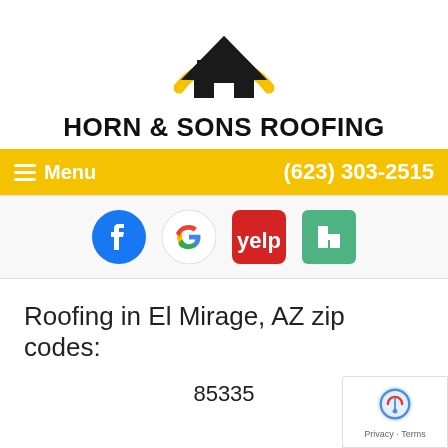[Figure (logo): Horn & Sons Roofing logo — black house/roof silhouette with a golden yellow arc above it]
HORN & SONS ROOFING
Menu   (623) 303-2515
[Figure (screenshot): Social media icons: Facebook (blue circle with f), Google (G logo), Yelp (red square logo), Houzz (green square logo)]
Roofing in El Mirage, AZ zip codes:
85335